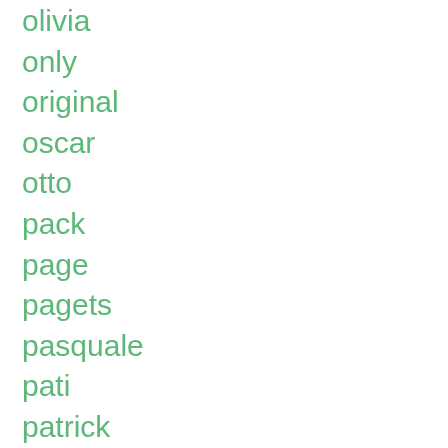olivia
only
original
oscar
otto
pack
page
pagets
pasquale
pati
patrick
patsy
paul
pawn
pegasus
pendleton